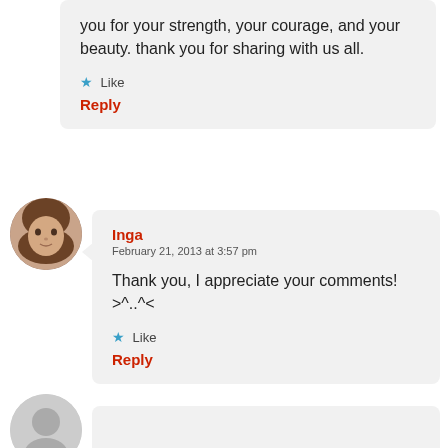you for your strength, your courage, and your beauty. thank you for sharing with us all.
★ Like
Reply
[Figure (photo): Circular avatar of a woman with brown hair]
Inga
February 21, 2013 at 3:57 pm
Thank you, I appreciate your comments! >^..^<
★ Like
Reply
[Figure (photo): Partial circular generic gray avatar at bottom]